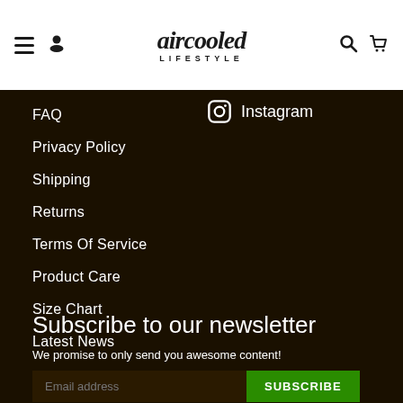aircooled LIFESTYLE
FAQ
Privacy Policy
Shipping
Returns
Terms Of Service
Product Care
Size Chart
Latest News
Instagram
Subscribe to our newsletter
We promise to only send you awesome content!